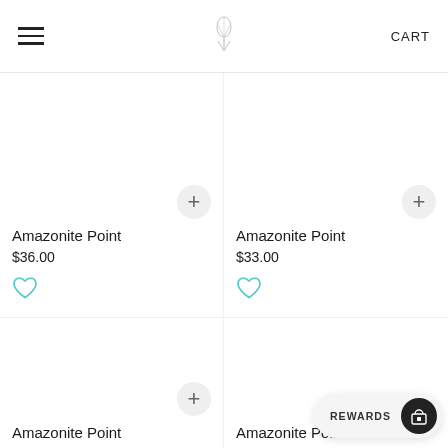≡  [logo]  CART
Amazonite Point
$36.00
Amazonite Point
$33.00
Amazonite Point
Amazonite Point